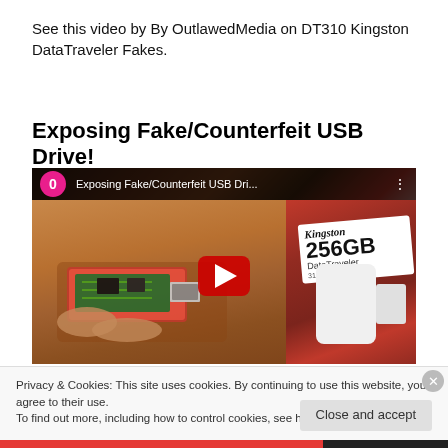See this video by By OutlawedMedia on DT310 Kingston DataTraveler Fakes.
Exposing Fake/Counterfeit USB Drive!
[Figure (screenshot): YouTube video thumbnail showing 'Exposing Fake/Counterfeit USB Dri...' with a pink circle channel icon labeled '0', hands holding a disassembled red USB drive showing green circuit board, and a Kingston 256GB DataTraveler 310 package on the right. Large red YouTube play button in center.]
Privacy & Cookies: This site uses cookies. By continuing to use this website, you agree to their use.
To find out more, including how to control cookies, see here: Cookie Policy
Close and accept